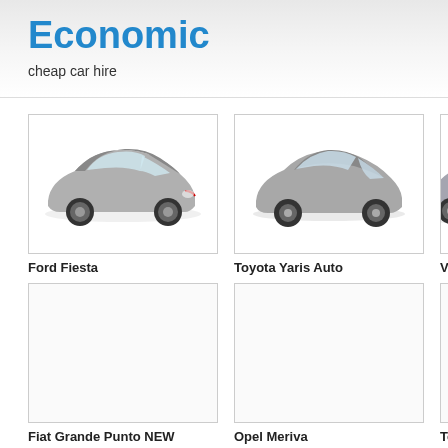Economic
cheap car hire
[Figure (photo): Ford Fiesta car photo in box]
Ford Fiesta
[Figure (photo): Toyota Yaris Auto car photo in box]
Toyota Yaris Auto
[Figure (photo): VW Polo 2 car photo partially visible]
VW Polo 2
[Figure (photo): Fiat Grande Punto NEW - empty box]
Fiat Grande Punto NEW
[Figure (photo): Opel Meriva - empty box]
Opel Meriva
[Figure (photo): Toyota Yaris partially visible with car peeking in from right]
Toyota Yar